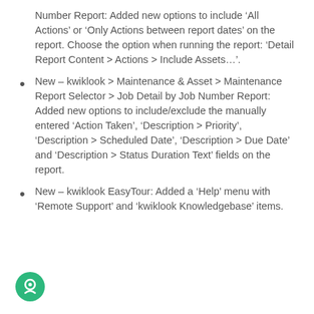Number Report: Added new options to include ‘All Actions’ or ‘Only Actions between report dates’ on the report. Choose the option when running the report: ‘Detail Report Content > Actions > Include Assets…’.
New – kwiklook > Maintenance & Asset > Maintenance Report Selector > Job Detail by Job Number Report: Added new options to include/exclude the manually entered ‘Action Taken’, ‘Description > Priority’, ‘Description > Scheduled Date’, ‘Description > Due Date’ and ‘Description > Status Duration Text’ fields on the report.
New – kwiklook EasyTour: Added a ‘Help’ menu with ‘Remote Support’ and ‘kwiklook Knowledgebase’ items.